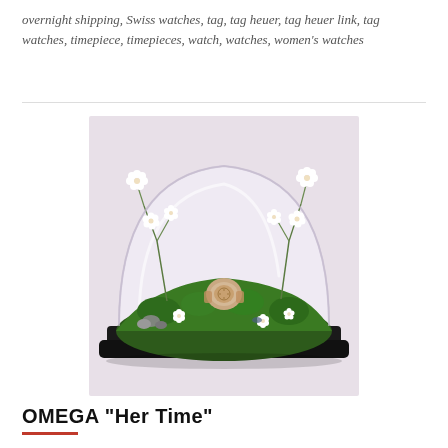overnight shipping, Swiss watches, tag, tag heuer, tag heuer link, tag watches, timepiece, timepieces, watch, watches, women's watches
[Figure (photo): A glass bell jar/dome containing a miniature garden scene with green moss, white flowers, small stones, and a watch displayed on top of the moss arrangement, set on a dark wooden base. The background inside the dome is light pink/lavender.]
OMEGA “Her Time”